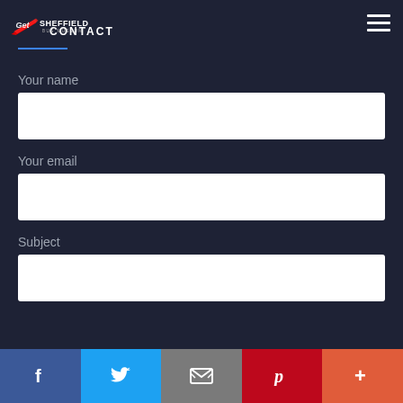[Figure (logo): Sheffield Bus Museum logo with 'Get' script text overlaid, white bold SHEFFIELD text and BUS MUSEUM subtitle]
Contact
Your name
Your email
Subject
Facebook | Twitter | Email | Pinterest | More